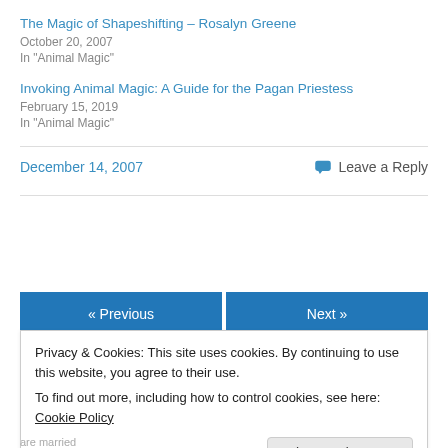The Magic of Shapeshifting – Rosalyn Greene
October 20, 2007
In "Animal Magic"
Invoking Animal Magic: A Guide for the Pagan Priestess
February 15, 2019
In "Animal Magic"
December 14, 2007
Leave a Reply
« Previous
Next »
Privacy & Cookies: This site uses cookies. By continuing to use this website, you agree to their use.
To find out more, including how to control cookies, see here: Cookie Policy
Close and accept
are married